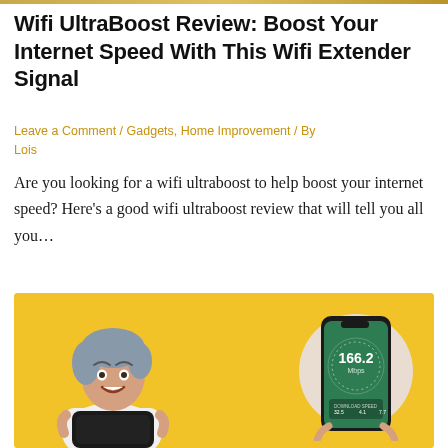Wifi UltraBoost Review: Boost Your Internet Speed With This Wifi Extender Signal
Leave a Comment / Gadgets, Home Improvement / By Lois
Are you looking for a wifi ultraboost to help boost your internet speed? Here's a good wifi ultraboost review that will tell you all you…
[Figure (photo): Woman with gray-blue hair smiling and holding a black device, next to a circular inset of a smartphone displaying a speed reading of 166.2, on a yellow background.]